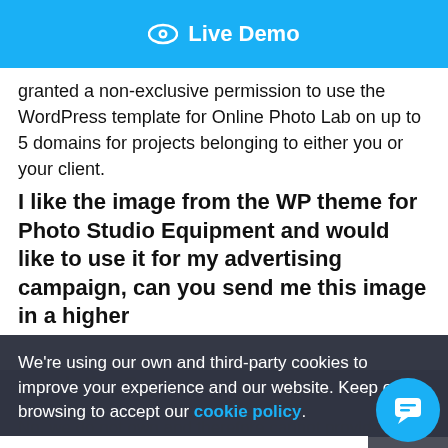[Figure (screenshot): Blue 'Live Demo' button with eye icon at top of page]
granted a non-exclusive permission to use the WordPress template for Online Photo Lab on up to 5 domains for projects belonging to either you or your client.
I like the image from the WP theme for Photo Studio Equipment and would like to use it for my advertising campaign, can you send me this image in a higher resolution?
No, we do not own and therefore cannot provide high resolution versions of the images used for Photo Studio Equipment. We recommend looking for free or paid images from online stock photo...
We're using our own and third-party cookies to improve your experience and our website. Keep on browsing to accept our cookie policy.
Accept
Will B...